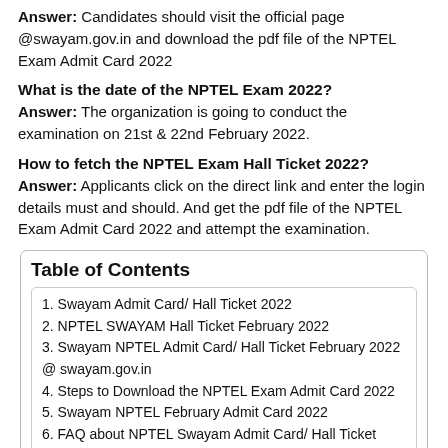Answer: Candidates should visit the official page @swayam.gov.in and download the pdf file of the NPTEL Exam Admit Card 2022
What is the date of the NPTEL Exam 2022?
Answer: The organization is going to conduct the examination on 21st & 22nd February 2022.
How to fetch the NPTEL Exam Hall Ticket 2022?
Answer: Applicants click on the direct link and enter the login details must and should. And get the pdf file of the NPTEL Exam Admit Card 2022 and attempt the examination.
Table of Contents
1. Swayam Admit Card/ Hall Ticket 2022
2. NPTEL SWAYAM Hall Ticket February 2022
3. Swayam NPTEL Admit Card/ Hall Ticket February 2022 @ swayam.gov.in
4. Steps to Download the NPTEL Exam Admit Card 2022
5. Swayam NPTEL February Admit Card 2022
6. FAQ about NPTEL Swayam Admit Card/ Hall Ticket 2022: